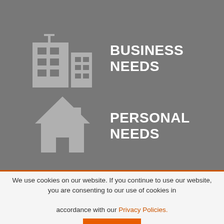[Figure (illustration): Gray office buildings icon representing business needs]
BUSINESS NEEDS
[Figure (illustration): Gray house icon representing personal needs]
PERSONAL NEEDS
We use cookies on our website. If you continue to use our website, you are consenting to our use of cookies in accordance with our Privacy Policies.